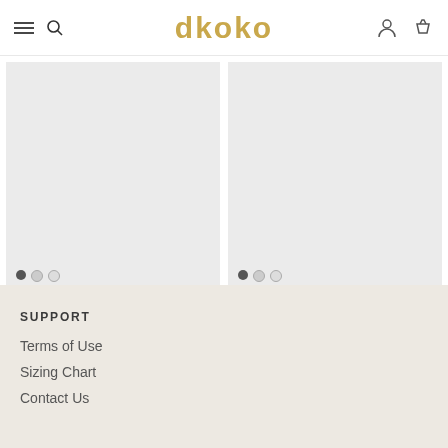dkoko
[Figure (photo): Product image placeholder for Soul Top (gray background with image carousel dots)]
Soul Top
$70.00
[Figure (photo): Product image placeholder for Meditation Top in Edamame (gray background with image carousel dots)]
Meditation Top in Edamame
$70.00
SUPPORT
Terms of Use
Sizing Chart
Contact Us